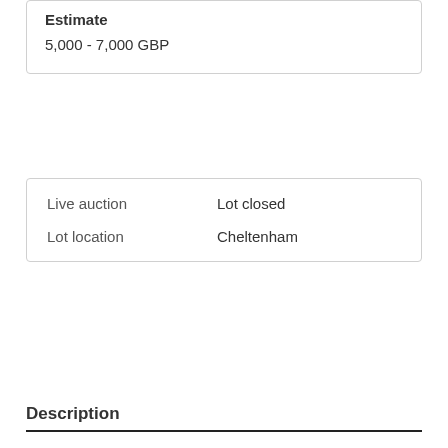Estimate
5,000 - 7,000 GBP
| Live auction | Lot closed |
| Lot location | Cheltenham |
Description
Auction details
Shipping
Terms & conditions
Important information
Rolex Oyster Perpetual Submariner gentleman's stainless steel wristwatch, 660ft = 200m, model 1680, with black dial, rotating